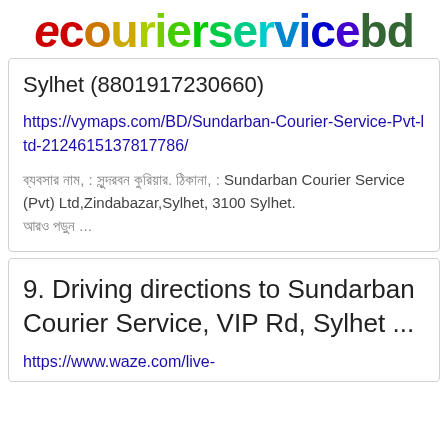ecourierservicebd
Sylhet (8801917230660)
https://vymaps.com/BD/Sundarban-Courier-Service-Pvt-ltd-21246151378177 86/
ব্যবসার নাম, : সুন্দরবন কুরিয়ার. ঠিকানা, : Sundarban Courier Service (Pvt) Ltd,Zindabazar,Sylhet, 3100 Sylhet. আরও পড়ুন  ...
9. Driving directions to Sundarban Courier Service, VIP Rd, Sylhet ...
https://www.waze.com/live-